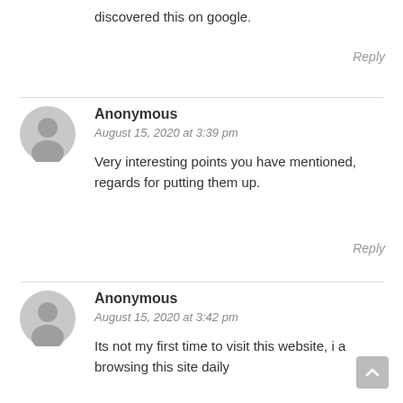discovered this on google.
Reply
Anonymous
August 15, 2020 at 3:39 pm
Very interesting points you have mentioned, regards for putting them up.
Reply
Anonymous
August 15, 2020 at 3:42 pm
Its not my first time to visit this website, i am browsing this site daily